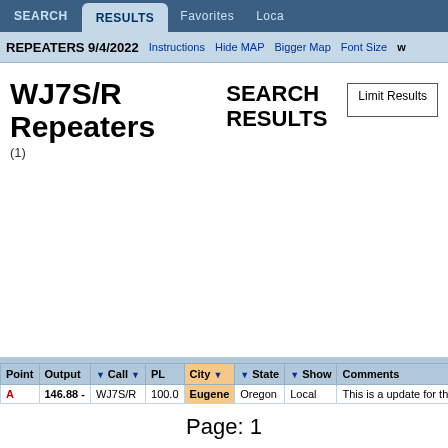SEARCH | RESULTS | Favorites | Loca
REPEATERS 9/4/2022  Instructions  Hide MAP  Bigger Map  Font Size  w
WJ7S/R Repeaters (1)
SEARCH RESULTS
Limit Results
| Point | Output | Call | PL | City | State | Show | Comments |
| --- | --- | --- | --- | --- | --- | --- | --- |
| A | 146.88 - | WJ7S/R | 100.0 | Eugene | Oregon | Local | This is a update for this rep |
Page: 1